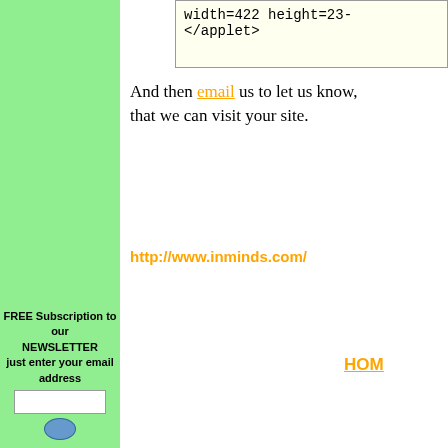width=422 height=23-
</applet>
And then email us to let us know, that we can visit your site.
http://www.inminds.com/
HOM
FREE Subscription to our NEWSLETTER just enter your email address